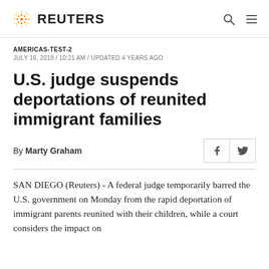REUTERS
AMERICAS-TEST-2
JULY 16, 2018 / 10:21 AM / UPDATED 4 YEARS AGO
U.S. judge suspends deportations of reunited immigrant families
By Marty Graham
SAN DIEGO (Reuters) - A federal judge temporarily barred the U.S. government on Monday from the rapid deportation of immigrant parents reunited with their children, while a court considers the impact on